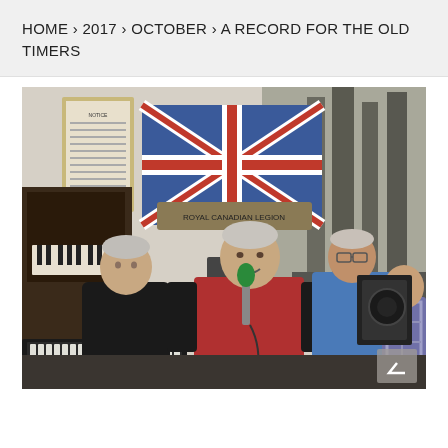HOME > 2017 > OCTOBER > A RECORD FOR THE OLD TIMERS
[Figure (photo): Group of musicians performing indoors at what appears to be a community hall. A man in a red and black raglan shirt holds a microphone and sings. Behind him, a man in a blue shirt looks on. To the left, an older man in black sits at a keyboard. In the background, a British flag banner with text is visible, along with a mural of trees and a steam train. On the far right, a person in a plaid shirt plays guitar near a drum kit with a Mapex bass drum visible.]